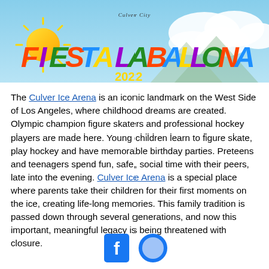[Figure (illustration): Fiesta La Ballona 2022 banner with colorful text, sun graphic on left, clouds on right, and 'Culver City' written above in script]
The Culver Ice Arena is an iconic landmark on the West Side of Los Angeles, where childhood dreams are created. Olympic champion figure skaters and professional hockey players are made here. Young children learn to figure skate, play hockey and have memorable birthday parties. Preteens and teenagers spend fun, safe, social time with their peers, late into the evening. Culver Ice Arena is a special place where parents take their children for their first moments on the ice, creating life-long memories. This family tradition is passed down through several generations, and now this important, meaningful legacy is being threatened with closure.
[Figure (logo): Facebook and other social media logo icons at bottom center]